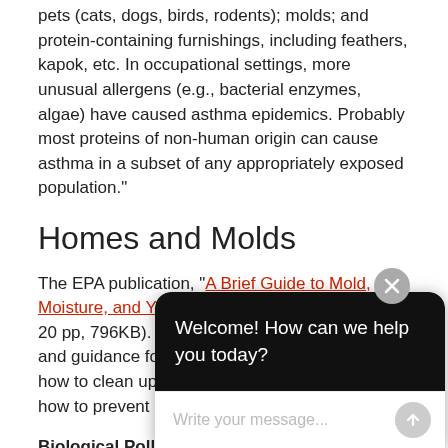pets (cats, dogs, birds, rodents); molds; and protein-containing furnishings, including feathers, kapok, etc. In occupational settings, more unusual allergens (e.g., bacterial enzymes, algae) have caused asthma epidemics. Probably most proteins of non-human origin can cause asthma in a subset of any appropriately exposed population."
Homes and Molds
The EPA publication, "A Brief Guide to Mold, Moisture, and Your Home", and Spanish (PDF, 20 pp, 796KB). This Guide provides information and guidance for homeowners and renters on how to clean up residential mold problems and how to prevent mold growth.
Biological Pollutants in Your Home – This document explains biological pollutants, buildup. conditions such as reactions diseases. moisture control and cleanliness. This brochure was prepared
[Figure (screenshot): Chat widget popup with dark header 'Welcome! How can we help you today?' and input field 'Write your message...' with send button, and close button (X) in gray circle.]